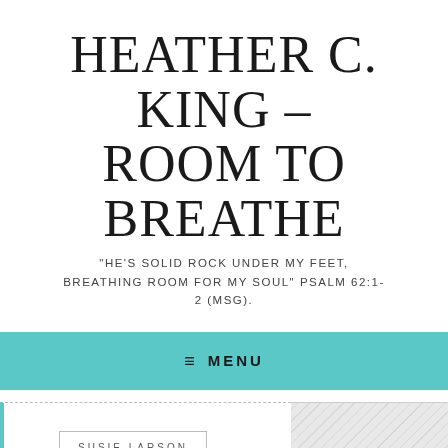HEATHER C. KING – ROOM TO BREATHE
"HE'S SOLID ROCK UNDER MY FEET, BREATHING ROOM FOR MY SOUL" PSALM 62:1-2 (MSG).
≡ MENU
[Figure (other): Book cover thumbnail for Susie Larson, partially visible at bottom left with dashed border and author badge label, next to a hatched placeholder image on the right.]